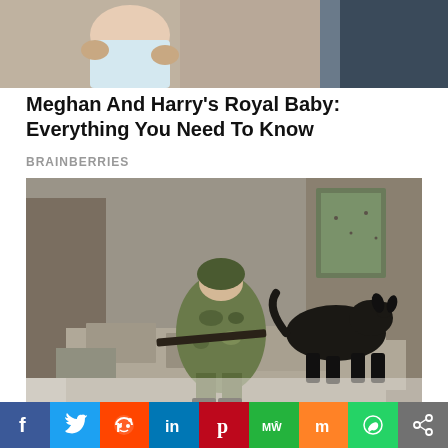[Figure (photo): Partial photo showing a person holding a baby, cropped at the top of the page]
Meghan And Harry's Royal Baby: Everything You Need To Know
BRAINBERRIES
[Figure (photo): A soldier in camouflage uniform holding a rifle sits on rubble of a destroyed building, with a large black dog beside them]
A Puppy Rescued By UA Soldiers Is Being Called Their Guardian
HERBEAUTY
f  Twitter  Reddit  in  Pinterest  MW  Mix  WhatsApp  Share